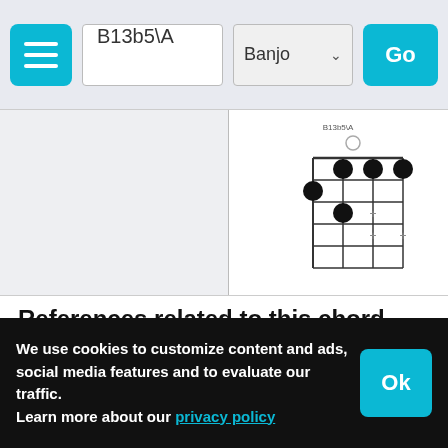B13b5\A  Banjo  Go
[Figure (illustration): Banjo chord diagram for B13b5\A showing finger positions on a fretboard grid with black dots on strings]
References related to this chord
maj  dim  7  13
Thirteenth Chords on Wikipedia
Major Seventh Chords on Wikipedia
We use cookies to customize content and ads, social media features and to evaluate our traffic. Learn more about our privacy policy